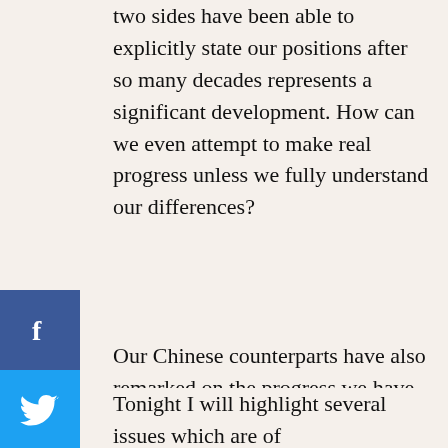two sides have been able to explicitly state our positions after so many decades represents a significant development. How can we even attempt to make real progress unless we fully understand our differences?
Our Chinese counterparts have also remarked on the progress we have made through our discussions. Following our fourth round of meetings in July 2005 I reported that Vice Minister Zhu Weiqun “stated that we need not be pessimistic about the existing differences and that it was possible to narrow down the gaps through more meetings and exchange of views.”[5]
Tonight I will highlight several issues which are of